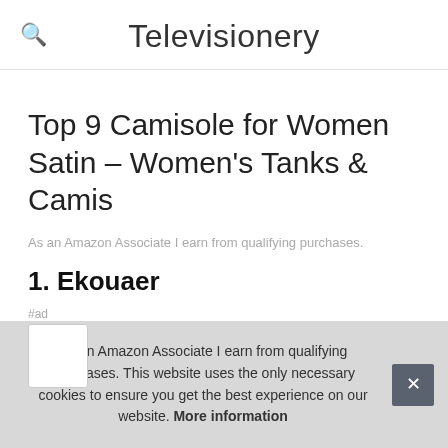Televisionery
Top 9 Camisole for Women Satin – Women's Tanks & Camis
As an Amazon Associate I earn from qualifying purchases.
1. Ekouaer
#ad
As an Amazon Associate I earn from qualifying purchases. This website uses the only necessary cookies to ensure you get the best experience on our website. More information